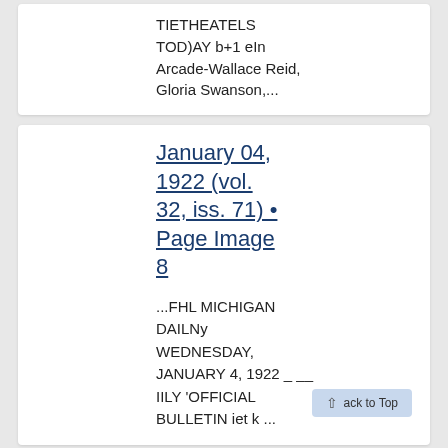TIETHEATELS TOD)AY b+1 eIn Arcade-Wallace Reid, Gloria Swanson,...
January 04, 1922 (vol. 32, iss. 71) • Page Image 8
...FHL MICHIGAN DAILNy WEDNESDAY, JANUARY 4, 1922 _ __ IILY 'OFFICIAL BULLETIN iet k ...